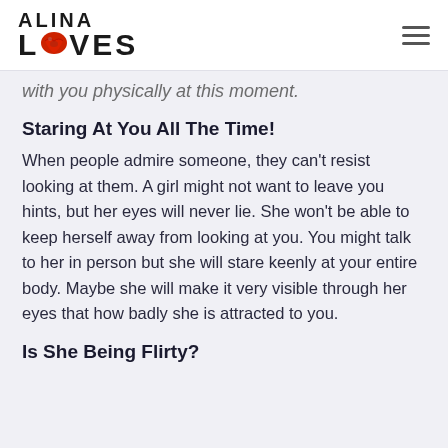ALINA LOVES
with you physically at this moment.
Staring At You All The Time!
When people admire someone, they can't resist looking at them. A girl might not want to leave you hints, but her eyes will never lie. She won't be able to keep herself away from looking at you. You might talk to her in person but she will stare keenly at your entire body. Maybe she will make it very visible through her eyes that how badly she is attracted to you.
Is She Being Flirty?